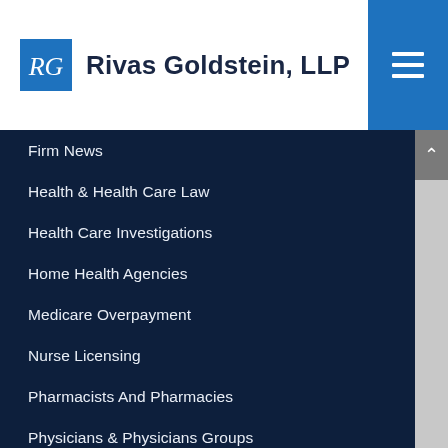[Figure (logo): Rivas Goldstein LLP logo: stylized RG letters in a blue square]
Rivas Goldstein, LLP
Firm News
Health & Health Care Law
Health Care Investigations
Home Health Agencies
Medicare Overpayment
Nurse Licensing
Pharmacists And Pharmacies
Physicians & Physicians Groups
Physicians And Group Practices
Press Releases
Stark Law/Anti-Kickback Statutes